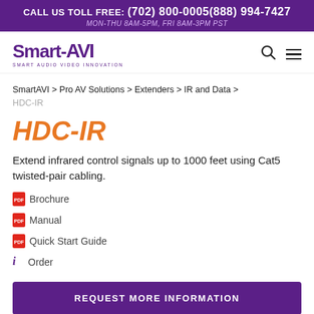CALL US TOLL FREE: (702) 800-0005 (888) 994-7427
MON-THU 8AM-5PM, FRI 8AM-3PM PST
[Figure (logo): Smart-AVI logo with tagline SMART AUDIO VIDEO INNOVATION]
SmartAVI > Pro AV Solutions > Extenders > IR and Data > HDC-IR
HDC-IR
Extend infrared control signals up to 1000 feet using Cat5 twisted-pair cabling.
Brochure
Manual
Quick Start Guide
Order
REQUEST MORE INFORMATION
BECOME A DEALER